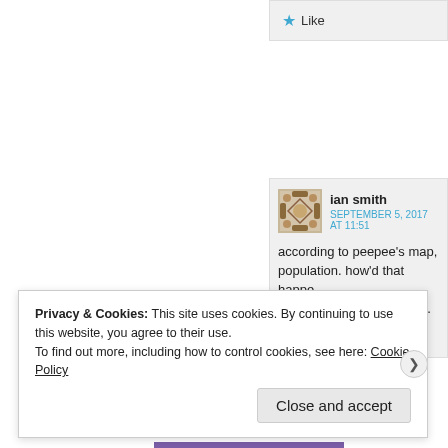★ Like
ian smith
SEPTEMBER 5, 2017 AT 11:51
according to peepee's map, population. how'd that happe make that big a difference.
★ Like
Privacy & Cookies: This site uses cookies. By continuing to use this website, you agree to their use.
To find out more, including how to control cookies, see here: Cookie Policy
Close and accept